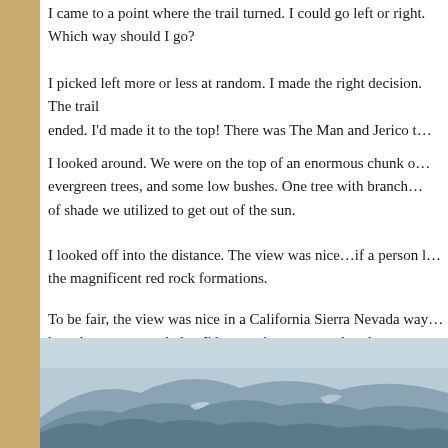I came to a point where the trail turned. I could go left or right. Which way should I go?
I picked left more or less at random. I made the right decision. The trail ended. I'd made it to the top! There was The Man and Jerico t…
I looked around. We were on the top of an enormous chunk o… evergreen trees, and some low bushes. One tree with branch… of shade we utilized to get out of the sun.
I looked off into the distance. The view was nice…if a person l… the magnificent red rock formations.
To be fair, the view was nice in a California Sierra Nevada way… have been awestruck, but I'd seen what amounted to the sam… three years. I'd seen basically that view from Dome Rock half… from Beetle Rock and Moro Rock in the Sequoia National Par… treacherous hike and the payoff was something that felt totally…
[Figure (photo): Mountain landscape photo showing forested ridgelines against a hazy sky]